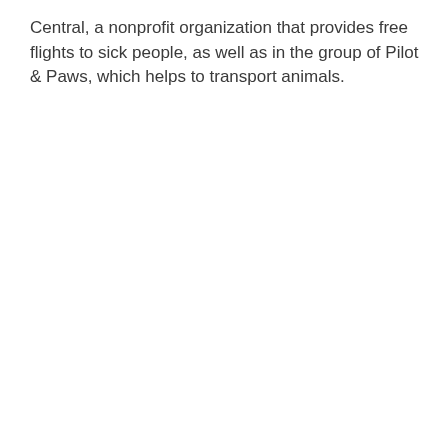Central, a nonprofit organization that provides free flights to sick people, as well as in the group of Pilot & Paws, which helps to transport animals.